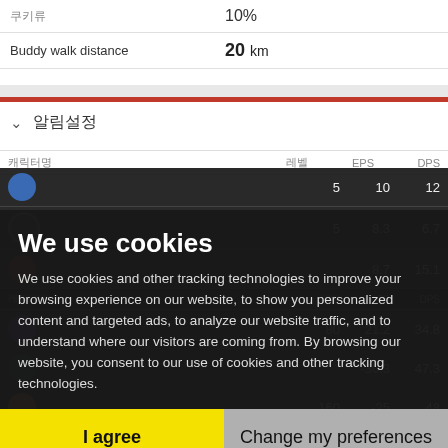|  |  |
| --- | --- |
| 쿠키류 | 10% |
| Buddy walk distance | 20 km |
∨  알림설정
| 캐릭터명 | 레벨 | EPS | DPS |
| --- | --- | --- | --- |
|  | 5 | 10 | 12 |
|  | 5 | 8.3 | 6.7 |
|  |  | 8.7 | 15.1 |
|  |  |  | DPS |
|  | 80 | 21.2 | 34.8 |
|  |  | -30.3 | 47.3 |
|  | 160 | -25 | 48 |
|  |  |  | 27.8 |
We use cookies
We use cookies and other tracking technologies to improve your browsing experience on our website, to show you personalized content and targeted ads, to analyze our website traffic, and to understand where our visitors are coming from. By browsing our website, you consent to our use of cookies and other tracking technologies.
I agree
Change my preferences